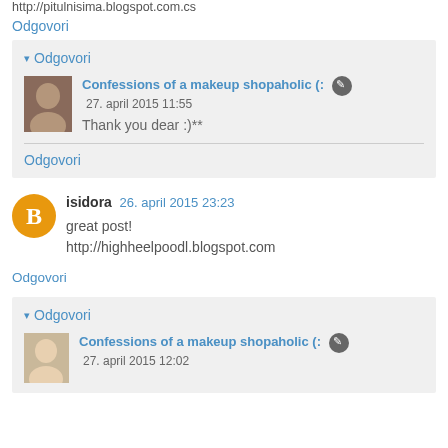http://pitulnisima.blogspot.com.cs
Odgovori
▾ Odgovori
Confessions of a makeup shopaholic (: 27. april 2015 11:55
Thank you dear :)**
Odgovori
isidora 26. april 2015 23:23
great post!
http://highheelpoodl.blogspot.com
Odgovori
▾ Odgovori
Confessions of a makeup shopaholic (: 27. april 2015 12:02